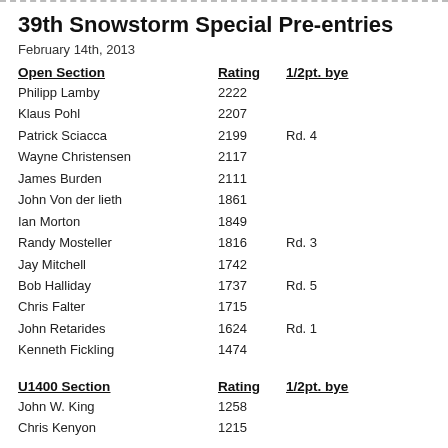39th Snowstorm Special Pre-entries
February 14th, 2013
Open Section   Rating  1/2pt. bye
Philipp Lamby   2222
Klaus Pohl   2207
Patrick Sciacca   2199   Rd. 4
Wayne Christensen   2117
James Burden   2111
John Von der lieth   1861
Ian Morton   1849
Randy Mosteller   1816   Rd. 3
Jay Mitchell   1742
Bob Halliday   1737   Rd. 5
Chris Falter   1715
John Retarides   1624   Rd. 1
Kenneth Fickling   1474
U1400 Section   Rating  1/2pt. bye
John W. King   1258
Chris Kenyon   1215